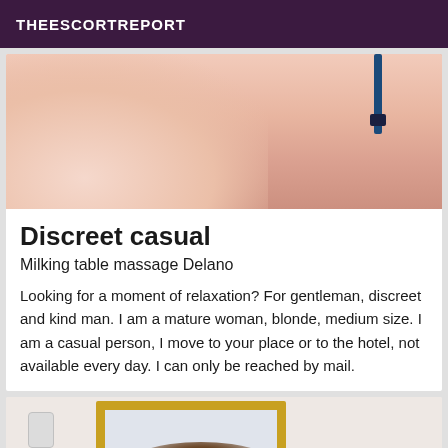THEESCORTREPORT
[Figure (photo): Close-up photo of a person's body with a blue bra strap visible on the upper right]
Discreet casual
Milking table massage Delano
Looking for a moment of relaxation? For gentleman, discreet and kind man. I am a mature woman, blonde, medium size. I am a casual person, I move to your place or to the hotel, not available every day. I can only be reached by mail.
[Figure (photo): Photo showing a bathroom mirror with a gold frame, a wall-mounted light fixture, and a person with brown hair visible in the reflection]